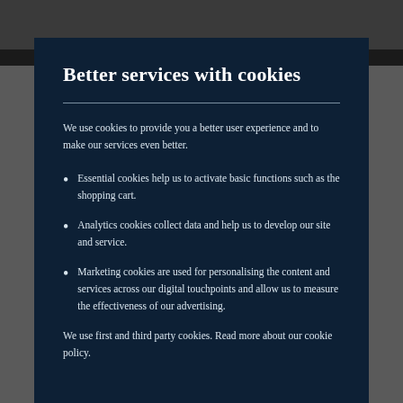Better services with cookies
We use cookies to provide you a better user experience and to make our services even better.
Essential cookies help us to activate basic functions such as the shopping cart.
Analytics cookies collect data and help us to develop our site and service.
Marketing cookies are used for personalising the content and services across our digital touchpoints and allow us to measure the effectiveness of our advertising.
We use first and third party cookies. Read more about our cookie policy.